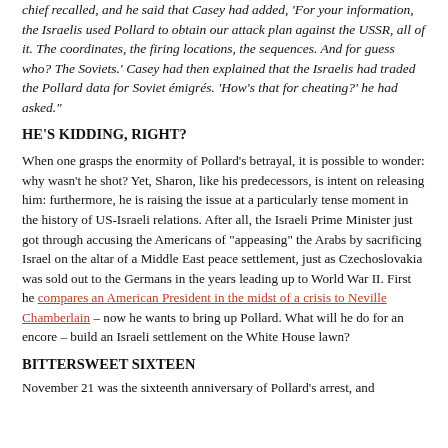chief recalled, and he said that Casey had added, 'For your information, the Israelis used Pollard to obtain our attack plan against the USSR, all of it. The coordinates, the firing locations, the sequences. And for guess who? The Soviets.' Casey had then explained that the Israelis had traded the Pollard data for Soviet émigrés. 'How's that for cheating?' he had asked."
HE'S KIDDING, RIGHT?
When one grasps the enormity of Pollard's betrayal, it is possible to wonder: why wasn't he shot? Yet, Sharon, like his predecessors, is intent on releasing him: furthermore, he is raising the issue at a particularly tense moment in the history of US-Israeli relations. After all, the Israeli Prime Minister just got through accusing the Americans of "appeasing" the Arabs by sacrificing Israel on the altar of a Middle East peace settlement, just as Czechoslovakia was sold out to the Germans in the years leading up to World War II. First he compares an American President in the midst of a crisis to Neville Chamberlain – now he wants to bring up Pollard. What will he do for an encore – build an Israeli settlement on the White House lawn?
BITTERSWEET SIXTEEN
November 21 was the sixteenth anniversary of Pollard's arrest, and